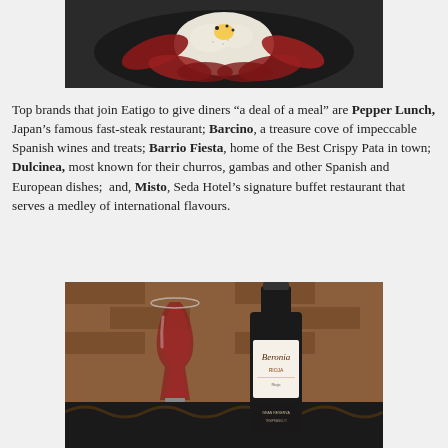[Figure (photo): A hot plate dish with rice and raw meat/beef arranged around it, viewed from above, on a dark skillet pan with seasonings on top.]
Top brands that join Eatigo to give diners “a deal of a meal” are Pepper Lunch, Japan’s famous fast-steak restaurant; Barcino, a treasure cove of impeccable Spanish wines and treats; Barrio Fiesta, home of the Best Crispy Pata in town; Dulcinea, most known for their churros, gambas and other Spanish and European dishes;  and, Misto, Seda Hotel’s signature buffet restaurant that serves a medley of international flavours.
[Figure (photo): A glass of red wine next to a bottle of Beronia Rioja wine, set against a brick wall background.]